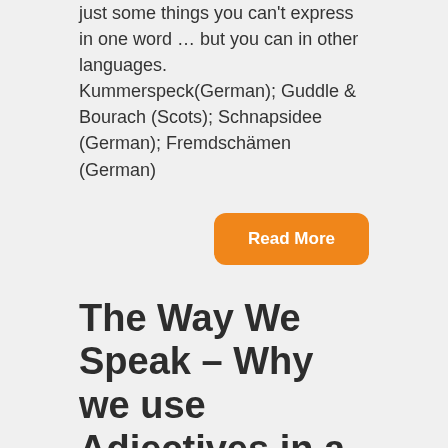just some things you can't express in one word … but you can in other languages. Kummerspeck(German); Guddle & Bourach (Scots); Schnapsidee (German); Fremdschämen (German)
Read More
The Way We Speak – Why we use Adjectives in a certain way